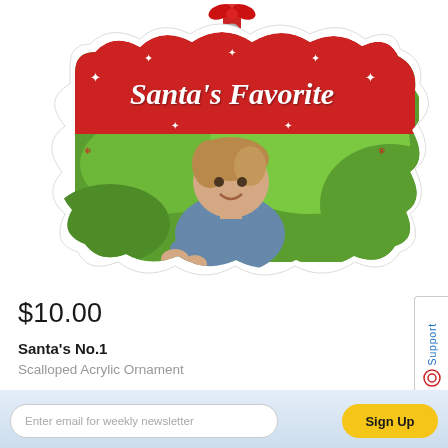[Figure (photo): A scalloped Christmas ornament with a red banner reading 'Santa's Favorite' in white cursive script with snowflake decorations, featuring a photo of a smiling toddler in a green outdoor setting, with a red ribbon hanger at the top.]
$10.00
Santa's No.1
Scalloped Acrylic Ornament
Support
Enter email for weekly newsletter
Sign Up